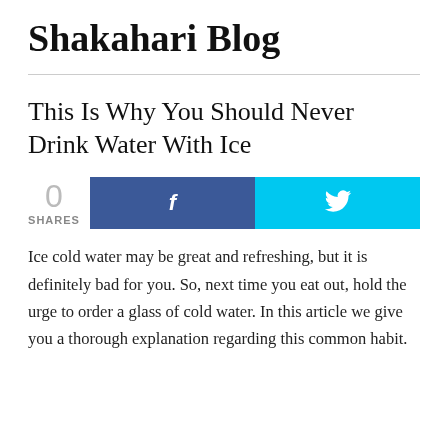Shakahari Blog
This Is Why You Should Never Drink Water With Ice
[Figure (infographic): Social share bar showing 0 SHARES count with Facebook (f) button in dark blue and Twitter (bird icon) button in cyan blue]
Ice cold water may be great and refreshing, but it is definitely bad for you. So, next time you eat out, hold the urge to order a glass of cold water. In this article we give you a thorough explanation regarding this common habit.